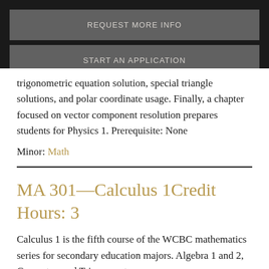REQUEST MORE INFO
START AN APPLICATION
trigonometric equation solution, special triangle solutions, and polar coordinate usage. Finally, a chapter focused on vector component resolution prepares students for Physics 1. Prerequisite: None
Minor: Math
MA 301—Calculus 1Credit Hours: 3
Calculus 1 is the fifth course of the WCBC mathematics series for secondary education majors. Algebra 1 and 2, Geometry, and Trigonometry are